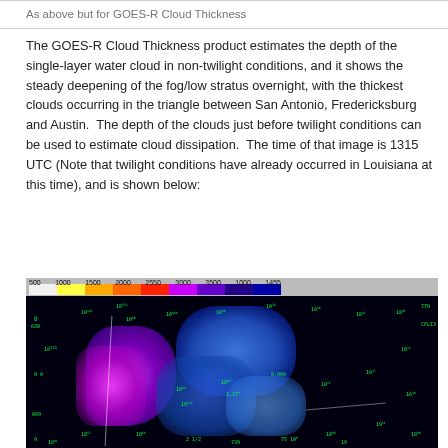As above but for GOES-R Cloud Thickness
The GOES-R Cloud Thickness product estimates the depth of the single-layer water cloud in non-twilight conditions, and it shows the steady deepening of the fog/low stratus overnight, with the thickest clouds occurring in the triangle between San Antonio, Fredericksburg and Austin.  The depth of the clouds just before twilight conditions can be used to estimate cloud dissipation.  The time of that image is 1315 UTC (Note that twilight conditions have already occurred in Louisiana at this time), and is shown below:
[Figure (photo): GOES-R Cloud Thickness satellite image showing cloud cover over Texas region at 1315 UTC, with a false-color scale bar at the top ranging from 500 to 1455, and green weather station overlay data points. Purple/magenta colors indicate thickest clouds in the San Antonio-Fredericksburg-Austin triangle area, with blue clouds to the east.]